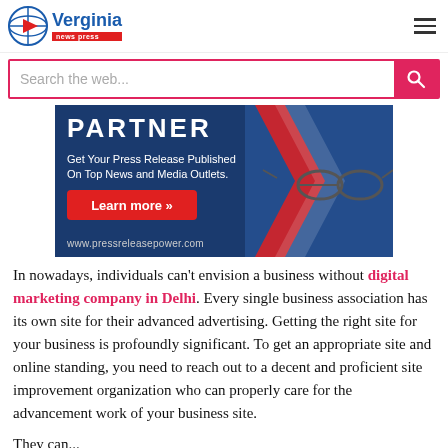Verginia news press
[Figure (screenshot): Search bar with pink border and search button]
[Figure (infographic): Advertisement banner: PARTNER - Get Your Press Release Published On Top News and Media Outlets. Learn more >>. www.pressreleasepower.com]
In nowadays, individuals can't envision a business without digital marketing company in Delhi. Every single business association has its own site for their advanced advertising. Getting the right site for your business is profoundly significant. To get an appropriate site and online standing, you need to reach out to a decent and proficient site improvement organization who can properly care for the advancement work of your business site.
They can...